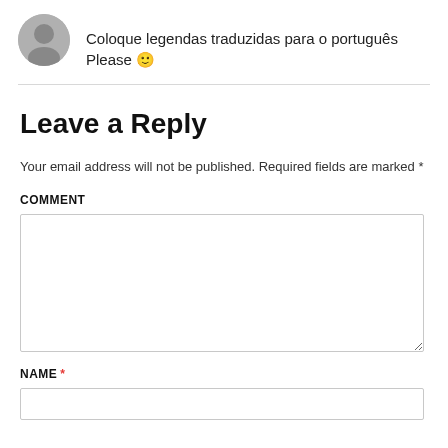Coloque legendas traduzidas para o português Please 🙂
Leave a Reply
Your email address will not be published. Required fields are marked *
COMMENT
NAME *